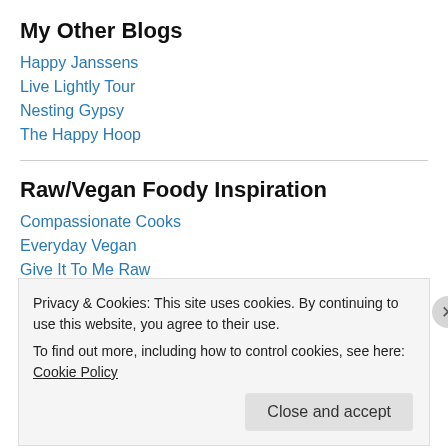My Other Blogs
Happy Janssens
Live Lightly Tour
Nesting Gypsy
The Happy Hoop
Raw/Vegan Foody Inspiration
Compassionate Cooks
Everyday Vegan
Give It To Me Raw
Privacy & Cookies: This site uses cookies. By continuing to use this website, you agree to their use.
To find out more, including how to control cookies, see here: Cookie Policy
Close and accept